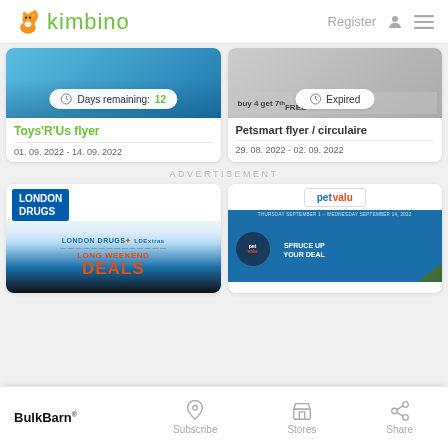kimbino — Register
[Figure (screenshot): Toys'R'Us flyer card with blue banner showing Days remaining: 12 badge]
Toys'R'Us flyer
01. 09. 2022 - 14. 09. 2022
[Figure (screenshot): Petsmart flyer card with greyed image showing Expired badge]
Petsmart flyer / circulaire
29. 08. 2022 - 02. 09. 2022
ADVERTISEMENT
[Figure (screenshot): London Drugs flyer card showing Long Weekend Deals promotional image]
[Figure (screenshot): Pet Valu flyer card showing Spruce Up Your Deal promotional image]
BulkBarn
Subscribe
Stores
Share